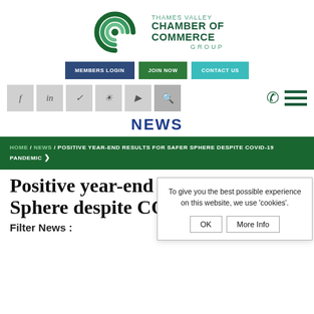[Figure (logo): Thames Valley Chamber of Commerce Group logo with circular arc graphic and text]
[Figure (screenshot): Navigation buttons: MEMBERS LOGIN, JOIN NOW, CONTACT US]
[Figure (screenshot): Social media icons: Facebook, LinkedIn, Twitter, Instagram, YouTube, Search, plus phone and hamburger menu icons]
NEWS
HOME / NEWS / POSITIVE YEAR-END RESULTS FOR SAFER SPHERE DESPITE COVID-19 PANDEMIC >
Positive year-end results for Safer Sphere despite CO...
Filter News :
To give you the best possible experience on this website, we use 'cookies'. OK | More Info